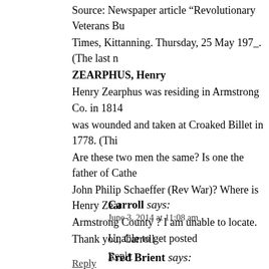Source: Newspaper article “Revolutionary Veterans Bu... Times, Kittanning. Thursday, 25 May 197_. (The last n...
ZEARPHUS, Henry
Henry Zearphus was residing in Armstrong Co. in 1814... was wounded and taken at Croaked Billet in 1778. (Thi... Are these two men the same? Is one the father of Cathe... John Philip Schaeffer (Rev War)? Where is Henry Zear... Armstrong County ? I am unable to locate.
Thank you, Carroll
Reply
Carroll says:
June 3, 2014 at 11:08 am
Unable to get posted
Reply
Fred Brient says: